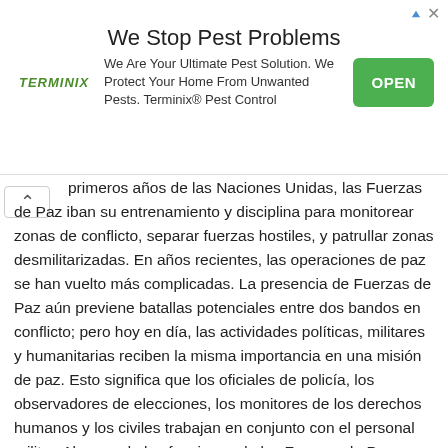[Figure (infographic): Advertisement banner for Terminix pest control. Title: 'We Stop Pest Problems'. Logo: TERMINIX in green italic. Body text: 'We Are Your Ultimate Pest Solution. We Protect Your Home From Unwanted Pests. Terminix® Pest Control'. Green OPEN button on right.]
primeros años de las Naciones Unidas, las Fuerzas de Paz iban su entrenamiento y disciplina para monitorear zonas de conflicto, separar fuerzas hostiles, y patrullar zonas desmilitarizadas. En años recientes, las operaciones de paz se han vuelto más complicadas. La presencia de Fuerzas de Paz aún previene batallas potenciales entre dos bandos en conflicto; pero hoy en día, las actividades políticas, militares y humanitarias reciben la misma importancia en una misión de paz. Esto significa que los oficiales de policía, los observadores de elecciones, los monitores de los derechos humanos y los civiles trabajan en conjunto con el personal militar. Algunos de las funciones de las Fuerzas de Paz incluyen dar ayuda a refugiados para que éstos regresen a sus casas y proveer alimentos, agua y refugio a las víctimas del conflicto. En otras misiones, las fuerzas de la ONU remueven minas terrestres y anti-personales, entrenan policías civiles y en algunos casos, monitorean las elecciones para sentar las bases de una paz duradera.
Las Fuerzas de Paz de las Naciones Unidas no son enviadas a